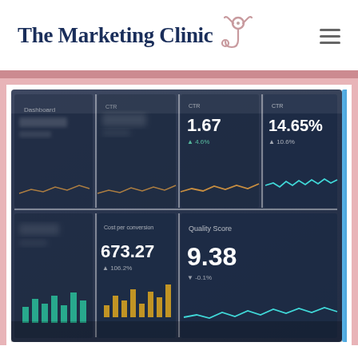The Marketing Clinic
[Figure (screenshot): A marketing analytics dashboard displayed on a tablet/monitor screen showing metrics including CTR 14.65%, Cost per conversion 673.27, and Quality Score 9.38, with small line and bar charts in dark navy blue panels arranged in a grid layout.]